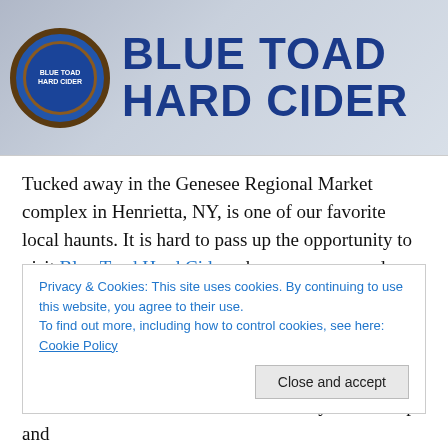[Figure (photo): Blue Toad Hard Cider banner/sign photo showing the brand logo (a blue toad in a circular brown-bordered medallion) and large blue bold text reading BLUE TOAD HARD CIDER]
Tucked away in the Genesee Regional Market complex in Henrietta, NY, is one of our favorite local haunts. It is hard to pass up the opportunity to visit Blue Toad Hard Cider where we can spend some time playing card games over a couple pints of locally sourced hard cider. After a few years of watching Blue Toad grow, we felt it was time to include their story for the blog. Stopping in one Sunday
Privacy & Cookies: This site uses cookies. By continuing to use this website, you agree to their use.
To find out more, including how to control cookies, see here: Cookie Policy
[Close and accept]
Blue Toad Hard Cider's exterior is fairly nondescript and